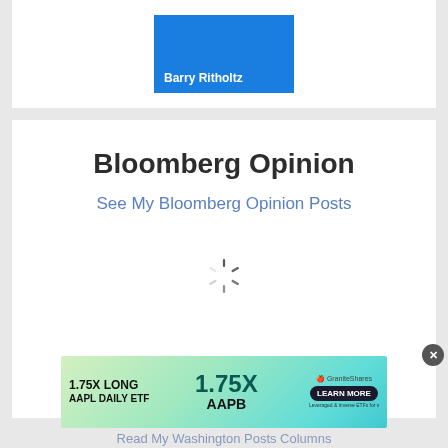[Figure (logo): Blue banner with 'Barry Ritholtz' text on it, representing a blogger/author card]
Bloomberg Opinion
See My Bloomberg Opinion Posts
[Figure (other): Loading spinner / activity indicator]
[Figure (infographic): Advertisement banner for GraniteShares 1.75X Long AAPL Daily ETF (AAPB) with Learn More button]
Read My Washington Posts Columns